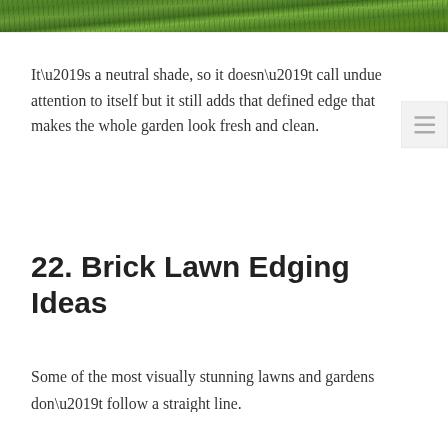[Figure (photo): Close-up photograph of green grass lawn at the top of the page]
It’s a neutral shade, so it doesn’t call undue attention to itself but it still adds that defined edge that makes the whole garden look fresh and clean.
22. Brick Lawn Edging Ideas
Some of the most visually stunning lawns and gardens don’t follow a straight line.